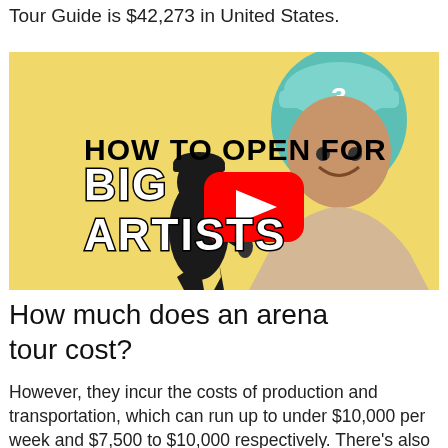Tour Guide is $42,273 in United States.
[Figure (screenshot): YouTube thumbnail with yellow background showing Chance the Rapper on the right side, a black silhouette of a performer with microphone on the left, with bold text 'HOW TO OPEN FOR BIG ARTISTS' and a red YouTube play button in the center.]
How much does an arena tour cost?
However, they incur the costs of production and transportation, which can run up to under $10,000 per week and $7,500 to $10,000 respectively. There's also the costs